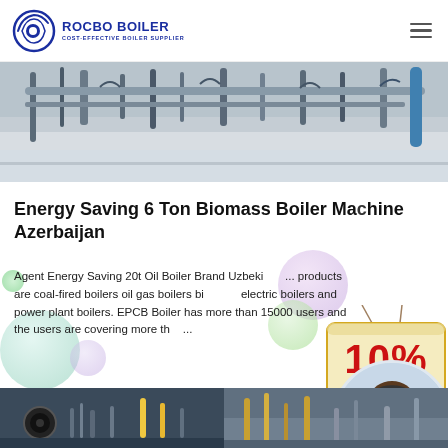[Figure (logo): Rocbo Boiler logo with circular icon on left and text 'ROCBO BOILER / COST-EFFECTIVE BOILER SUPPLIER']
[Figure (photo): Industrial boiler machinery photograph showing metal pipes and equipment in a factory setting]
Energy Saving 6 Ton Biomass Boiler Machine Azerbaijan
Agent Energy Saving 20t Oil Boiler Brand Uzbeki... products are coal-fired boilers oil gas boilers bi... electric boilers and power plant boilers. EPCB Boiler has more than 15000 users and the users are covering more th...
[Figure (infographic): 10% DISCOUNT badge in red and cream colors with hanging rope design]
[Figure (photo): Customer service representative woman with headset smiling, circular cropped photo]
[Figure (photo): Two product/industrial images at bottom of page side by side]